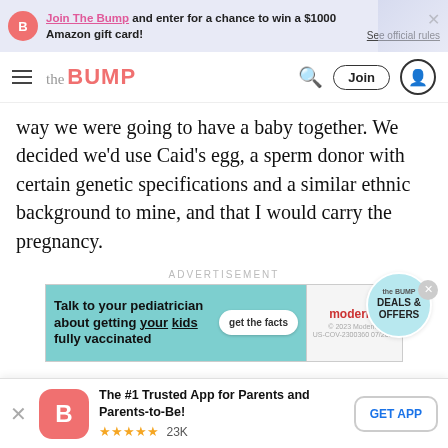Join The Bump and enter for a chance to win a $1000 Amazon gift card! See official rules
the BUMP — navigation bar with search, Join, and profile icons
way we were going to have a baby together. We decided we'd use Caid's egg, a sperm donor with certain genetic specifications and a similar ethnic background to mine, and that I would carry the pregnancy.
ADVERTISEMENT
[Figure (screenshot): Moderna vaccine ad: Talk to your pediatrician about getting your kids fully vaccinated. get the facts button. moderna logo. the BUMP DEALS & OFFERS badge.]
It wasn't long into the phone call with the financial
The #1 Trusted App for Parents and Parents-to-Be! ★★★★★ 23K  GET APP